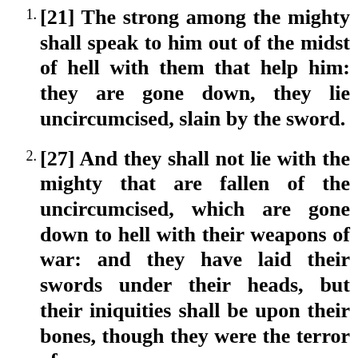[21] The strong among the mighty shall speak to him out of the midst of hell with them that help him: they are gone down, they lie uncircumcised, slain by the sword.
[27] And they shall not lie with the mighty that are fallen of the uncircumcised, which are gone down to hell with their weapons of war: and they have laid their swords under their heads, but their iniquities shall be upon their bones, though they were the terror of